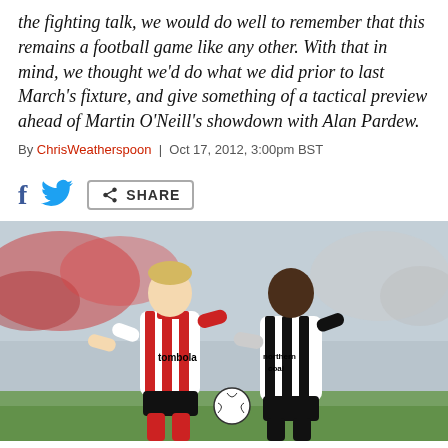the fighting talk, we would do well to remember that this remains a football game like any other. With that in mind, we thought we'd do what we did prior to last March's fixture, and give something of a tactical preview ahead of Martin O'Neill's showdown with Alan Pardew.
By ChrisWeatherspoon | Oct 17, 2012, 3:00pm BST
[Figure (photo): Two football players competing for the ball. One in a red and white striped Sunderland kit with 'tombola' sponsor, another in a black and white Newcastle United kit with 'northern coal' sponsor. Match action photo taken outdoors with crowd in background.]